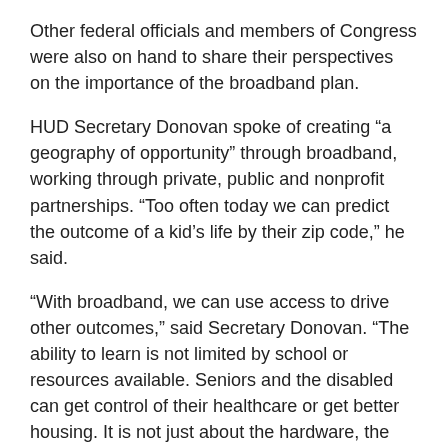Other federal officials and members of Congress were also on hand to share their perspectives on the importance of the broadband plan.
HUD Secretary Donovan spoke of creating “a geography of opportunity” through broadband, working through private, public and nonprofit partnerships. “Too often today we can predict the outcome of a kid’s life by their zip code,” he said.
“With broadband, we can use access to drive other outcomes,” said Secretary Donovan. “The ability to learn is not limited by school or resources available. Seniors and the disabled can get control of their healthcare or get better housing. It is not just about the hardware, the wiring, the computers themselves, it’s about the barriers to actualizing using the technology.”